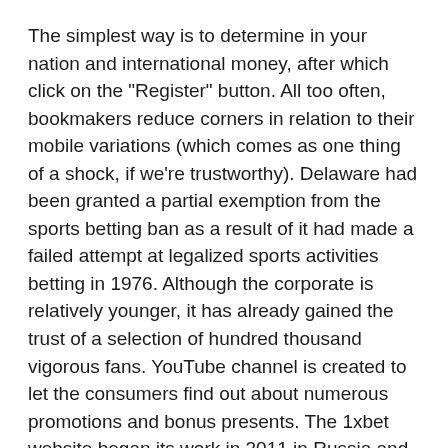The simplest way is to determine in your nation and international money, after which click on the "Register" button. All too often, bookmakers reduce corners in relation to their mobile variations (which comes as one thing of a shock, if we're trustworthy). Delaware had been granted a partial exemption from the sports betting ban as a result of it had made a failed attempt at legalized sports activities betting in 1976. Although the corporate is relatively younger, it has already gained the trust of a selection of hundred thousand vigorous fans. YouTube channel is created to let the consumers find out about numerous promotions and bonus presents. The 1xbet website began its work in 2011 in Russia and since then has been rising gradually, to the purpose that at present it's a world renowned firm.
More and extra bettors choose cellular gambling as a end result of it permits betting and watching stay events on the go at any time. Obviously, the standard of the experience